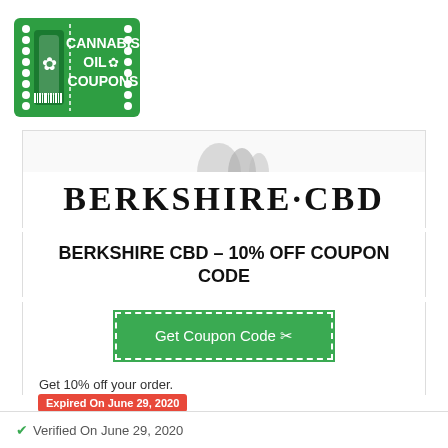[Figure (logo): Cannabis Oil Coupons green ticket logo with cannabis leaf icon and barcode]
[Figure (photo): Partial view of CBD product bottles at top of card]
BERKSHIRE·CBD
BERKSHIRE CBD – 10% OFF COUPON CODE
[Figure (other): Get Coupon Code button with scissors icon on green background with dashed border]
Get 10% off your order.
Expired On June 29, 2020
Storewide
Verified On June 29, 2020